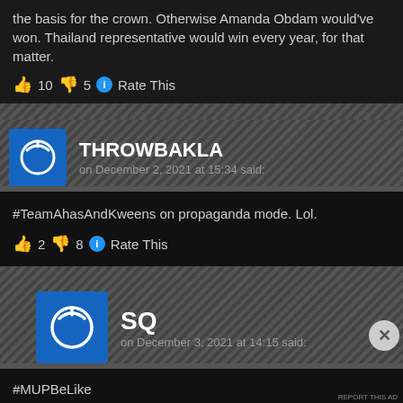the basis for the crown. Otherwise Amanda Obdam would've won. Thailand representative would win every year, for that matter.
👍 10 👎 5 🔵 Rate This
THROWBAKLA on December 2, 2021 at 15:34 said:
#TeamAhasAndKweens on propaganda mode. Lol.
👍 2 👎 8 🔵 Rate This
SQ on December 3, 2021 at 14:15 said:
#MUPBeLike
Advertisements
AUTOMATTIC
Build a better web and a better world.